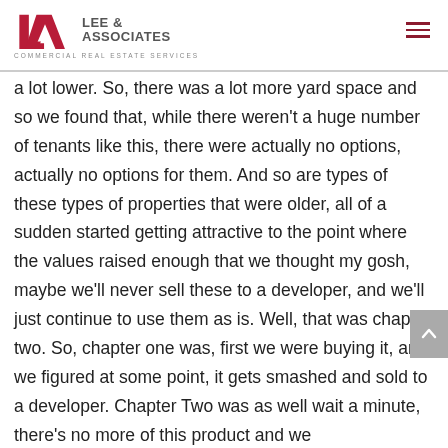Lee & Associates — Commercial Real Estate Services
a lot lower. So, there was a lot more yard space and so we found that, while there weren't a huge number of tenants like this, there were actually no options, actually no options for them. And so are types of these types of properties that were older, all of a sudden started getting attractive to the point where the values raised enough that we thought my gosh, maybe we'll never sell these to a developer, and we'll just continue to use them as is. Well, that was chapter two. So, chapter one was, first we were buying it, and we figured at some point, it gets smashed and sold to a developer. Chapter Two was as well wait a minute, there's no more of this product and we